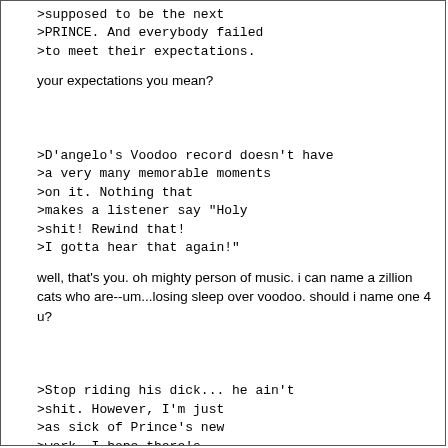>supposed to be the next
>PRINCE. And everybody failed
>to meet their expectations.
your expectations you mean?
>D'angelo's Voodoo record doesn't have
>a very many memorable moments
>on it. Nothing that
>makes a listener say "Holy
>shit! Rewind that!
>I gotta hear that again!"
well, that's you. oh mighty person of music. i can name a zillion cats who are--um...losing sleep over voodoo. should i name one 4 u?
>Stop riding his dick... he ain't
>shit. However, I'm just
>as sick of Prince's new
>work. I hope there's
>an artist out there who
>has the balls to do
>the things Prince used to
>do.
well to compare a person to another is mistake number one.